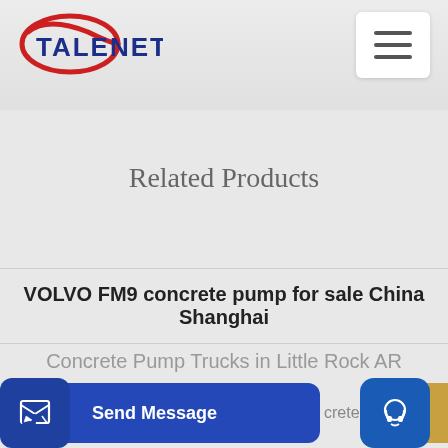[Figure (logo): TALENET company logo with red ellipse and blue bold text]
[Figure (other): Hamburger menu button (three horizontal lines) in white rounded box]
Related Products
VOLVO FM9 concrete pump for sale China Shanghai
Concrete Pump Trucks in Little Rock AR
[Figure (other): Send Message button with document icon]
[Figure (other): Inquiry Online button with headset icon]